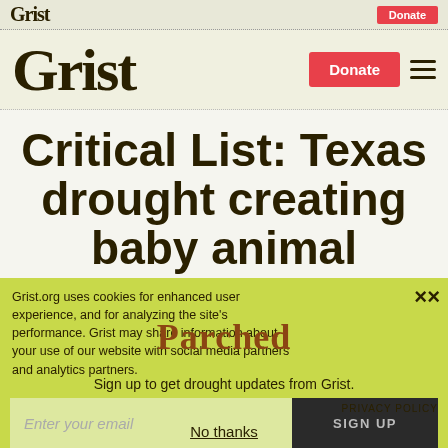Grist | Donate
Grist | Donate | Menu
Critical List: Texas drought creating baby animal
Grist.org uses cookies for enhanced user experience, and for analyzing the site's performance. Grist may share information about your use of our website with social media partners and analytics partners.
Parched
Sign up to get drought updates from Grist.
Enter your email
SIGN UP
PRIVACY POLICY
No thanks